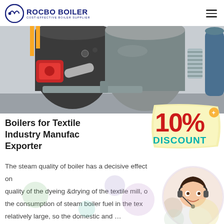ROCBO BOILER - COST-EFFECTIVE BOILER SUPPLIER
[Figure (photo): Industrial boiler equipment photo showing large cylindrical boiler with red burner, metallic pipes and connections in an industrial facility]
Boilers for Textile Industry Manufacturer Exporter
[Figure (infographic): 10% DISCOUNT badge/sticker in red and yellow with teal DISCOUNT text]
The steam quality of boiler has a decisive effect on quality of the dyeing &drying of the textile mill, the consumption of steam boiler fuel in the textile relatively large, so the domestic and …
[Figure (photo): Customer service agent woman with headset smiling, circular cropped photo]
Get Price